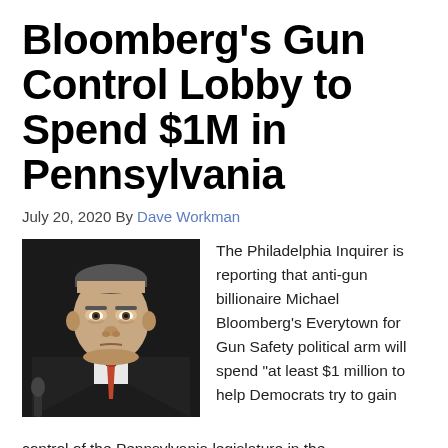Bloomberg's Gun Control Lobby to Spend $1M in Pennsylvania
July 20, 2020 By Dave Workman
[Figure (photo): Headshot photo of Michael Bloomberg, an older man in a suit, looking stern, in front of a dark background.]
The Philadelphia Inquirer is reporting that anti-gun billionaire Michael Bloomberg's Everytown for Gun Safety political arm will spend "at least $1 million to help Democrats try to gain control of the Pennsylvania legislature in the